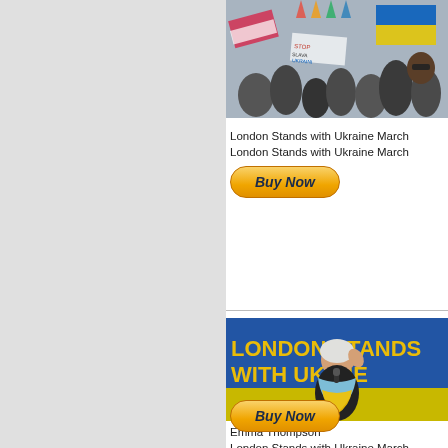[Figure (photo): Crowd at London Stands with Ukraine March, people holding flags including Ukrainian and other national flags]
London Stands with Ukraine March
London Stands with Ukraine March
[Figure (photo): Emma Thompson speaking at London Stands with Ukraine March, wearing Ukrainian flag colors scarf, with blue backdrop reading LONDON STANDS WITH UKRAINE]
Emma Thompson
London Stands with Ukraine March